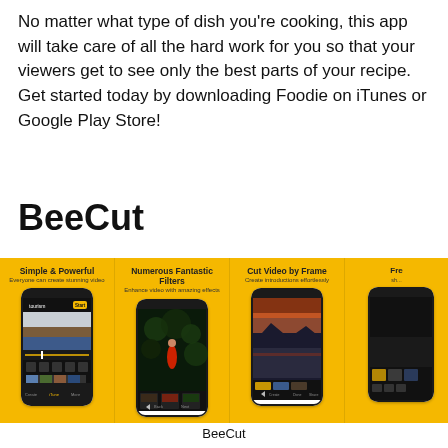No matter what type of dish you're cooking, this app will take care of all the hard work for you so that your viewers get to see only the best parts of your recipe. Get started today by downloading Foodie on iTunes or Google Play Store!
BeeCut
[Figure (screenshot): Four app screenshots of BeeCut video editing app on a yellow background, showing: 'Simple & Powerful - Everyone can create stunning video', 'Numerous Fantastic Filters - Enhance video with amazing effects', 'Cut Video by Frame - Create introductions effortlessly', and a fourth partially visible panel.]
BeeCut